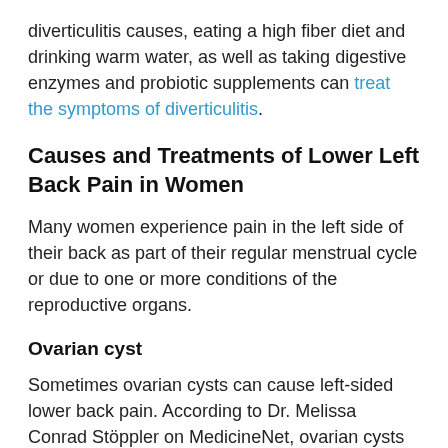diverticulitis causes, eating a high fiber diet and drinking warm water, as well as taking digestive enzymes and probiotic supplements can treat the symptoms of diverticulitis.
Causes and Treatments of Lower Left Back Pain in Women
Many women experience pain in the left side of their back as part of their regular menstrual cycle or due to one or more conditions of the reproductive organs.
Ovarian cyst
Sometimes ovarian cysts can cause left-sided lower back pain. According to Dr. Melissa Conrad Stöppler on MedicineNet, ovarian cysts can